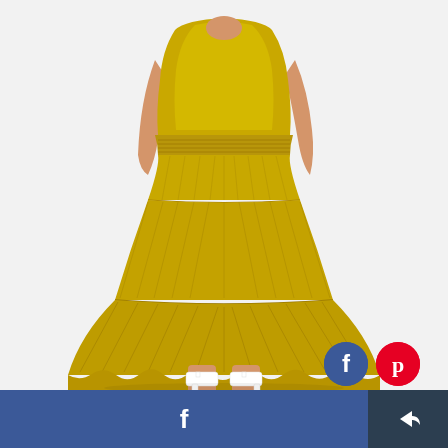[Figure (photo): A woman wearing a bright yellow tiered midi skirt with gathered/smocked waistband and a matching yellow top, paired with white strappy heeled sandals. The skirt has multiple tiers with ruffled hem detail. Background is white/light gray.]
[Figure (logo): Facebook circular logo icon in blue, bottom right area above footer bar]
[Figure (logo): Pinterest circular logo icon in red with white 'p', bottom right area above footer bar]
f  [share icon]